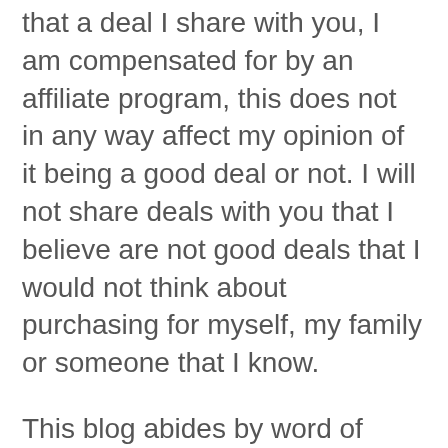that a deal I share with you, I am compensated for by an affiliate program, this does not in any way affect my opinion of it being a good deal or not. I will not share deals with you that I believe are not good deals that I would not think about purchasing for myself, my family or someone that I know.
This blog abides by word of mouth marketing standards. We believe in honesty of relationship, opinion and identity. The compensation received may influence the advertising content, topics or posts made in this blog. That content,